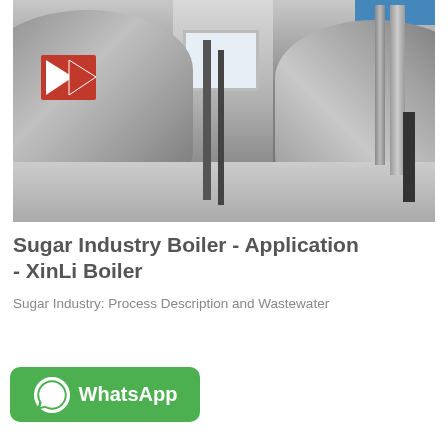[Figure (photo): Industrial boiler room with two large stainless steel cylindrical boiler tanks side by side, pipes and ducts visible, a window in the background letting in light, and a logo with red triangle on the left boiler. The boilers appear to be from XinLi/Fangkuai brand.]
Sugar Industry Boiler - Application - XinLi Boiler
Sugar Industry: Process Description and Wastewater
[Figure (logo): Green rounded rectangle WhatsApp button with WhatsApp phone icon on left and text 'WhatsApp' in white bold letters]